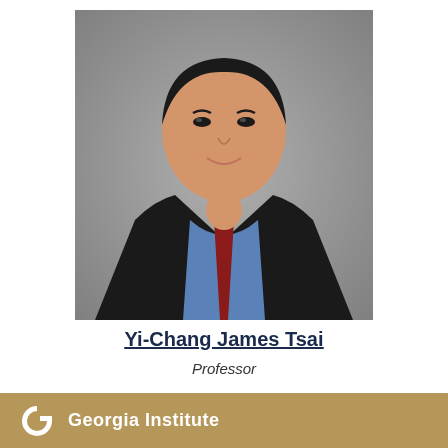[Figure (photo): Headshot portrait of Yi-Chang James Tsai, an Asian man in a black suit jacket, blue button-down shirt, and dark red/burgundy tie, smiling slightly, against a gray background.]
Yi-Chang James Tsai
Professor
Georgia Institute